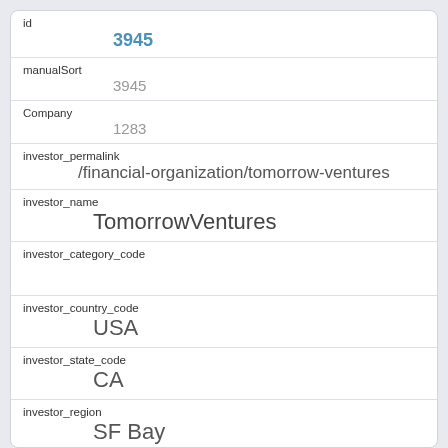id
3945
manualSort
3945
Company
1283
investor_permalink
/financial-organization/tomorrow-ventures
investor_name
TomorrowVentures
investor_category_code
investor_country_code
USA
investor_state_code
CA
investor_region
SF Bay
investor_city
Palo Alto